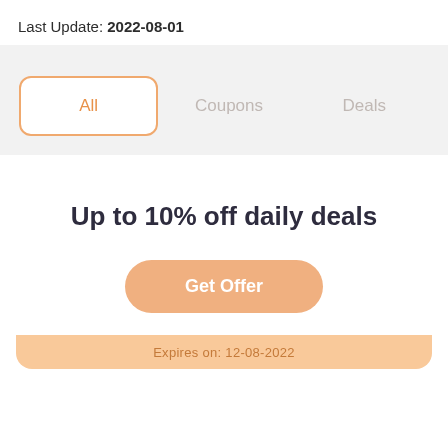Last Update: 2022-08-01
All
Coupons
Deals
Up to 10% off daily deals
Get Offer
Expires on: 12-08-2022